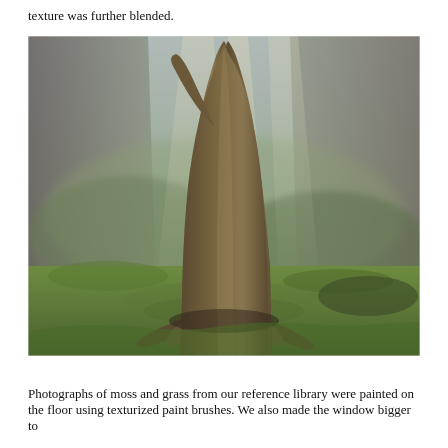texture was further blended.
[Figure (illustration): Digital artwork of a large tree with dramatic exposed roots growing on a mossy green floor, bathed in rays of light coming through what appears to be a misty background with mountain or cliff scenery. The tree trunk forks near the top. The scene has a fantastical, painterly quality with rich greens and earthy browns.]
Photographs of moss and grass from our reference library were painted on the floor using texturized paint brushes. We also made the window bigger to